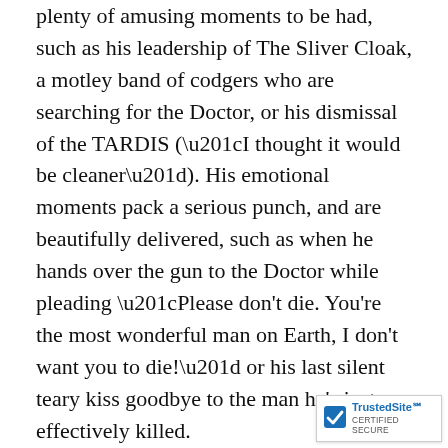plenty of amusing moments to be had, such as his leadership of The Sliver Cloak, a motley band of codgers who are searching for the Doctor, or his dismissal of the TARDIS (“I thought it would be cleaner”). His emotional moments pack a serious punch, and are beautifully delivered, such as when he hands over the gun to the Doctor while pleading “Please don't die. You're the most wonderful man on Earth, I don't want you to die!” or his last silent teary kiss goodbye to the man he's just effectively killed.
Because in the end, who else could deliver the four knocks but Wilf? Trapped in a deadly phone booth of doom which is about to go critical with radiation, the only man that can save him is the Doctor, who has to take the full force of the blast. What a great sequence – expertly filmed by Euros Lyn: The Doctor sobs in delight
[Figure (logo): TrustedSite CERTIFIED SECURE badge with checkmark icon]